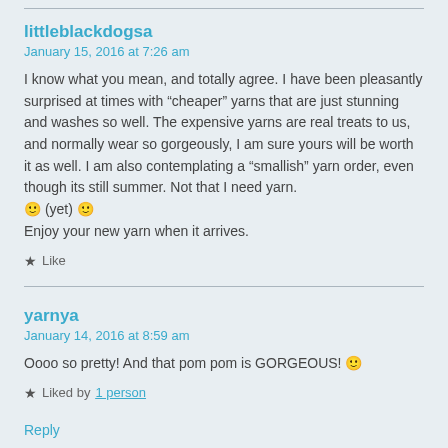littleblackdogsa
January 15, 2016 at 7:26 am
I know what you mean, and totally agree. I have been pleasantly surprised at times with “cheaper” yarns that are just stunning and washes so well. The expensive yarns are real treats to us, and normally wear so gorgeously, I am sure yours will be worth it as well. I am also contemplating a “smallish” yarn order, even though its still summer. Not that I need yarn. 🙂 (yet) 🙂
Enjoy your new yarn when it arrives.
★ Like
yarnya
January 14, 2016 at 8:59 am
Oooo so pretty! And that pom pom is GORGEOUS! 🙂
★ Liked by 1 person
Reply